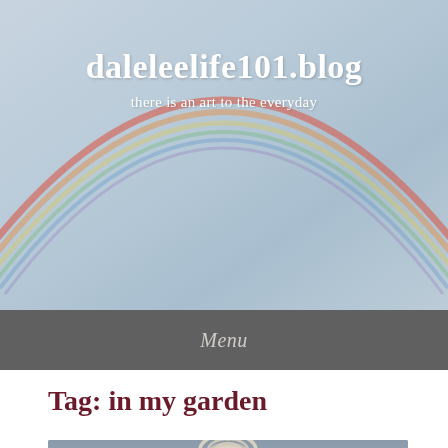[Figure (photo): Blog header image showing a sky with a rainbow arc against soft blue-grey clouds]
daleleelife101.blog
there is an art to the everyday
Menu
Tag: in my garden
[Figure (photo): Partial photo of what appears to be a coiled rope or plant on a grey stone surface]